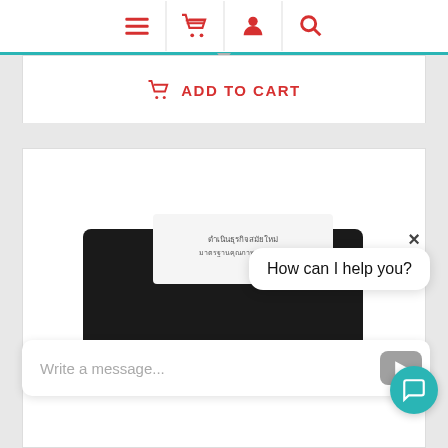[Figure (screenshot): E-commerce website navigation bar with menu, cart, user, and search icons in red on white background with teal top border]
[Figure (screenshot): Add to Cart button with basket icon in red text]
[Figure (photo): Electronic weighing scale / label printer device with teal buttons and a paper label on top]
How can I help you?
Write a message...